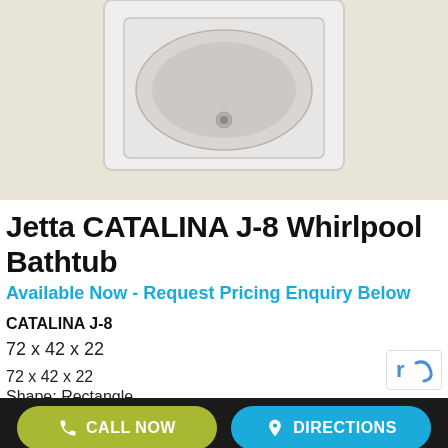[Figure (photo): Product photo of a white rectangular whirlpool bathtub on a beige/cream background, viewed from above/front, showing the tub basin and surround.]
Jetta CATALINA J-8 Whirlpool Bathtub
Available Now - Request Pricing Enquiry Below
CATALINA J-8
72 x 42 x 22
72 x 42 x 22
Shape: Rectangle